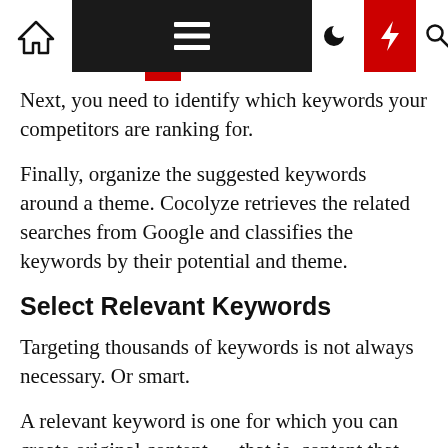[Navigation bar with home, menu, moon, bolt, search icons]
Next, you need to identify which keywords your competitors are ranking for.
Finally, organize the suggested keywords around a theme. Cocolyze retrieves the related searches from Google and classifies the keywords by their potential and theme.
Select Relevant Keywords
Targeting thousands of keywords is not always necessary. Or smart.
A relevant keyword is one for which you can create original content — that is, content that really meets the users' needs.
Searchers are looking for a precise answer to each query. You can't just get ranked on a keyword if your